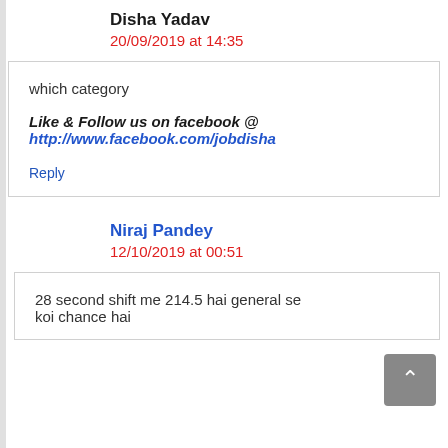Disha Yadav
20/09/2019 at 14:35
which category

Like & Follow us on facebook @ http://www.facebook.com/jobdisha
Reply
Niraj Pandey
12/10/2019 at 00:51
28 second shift me 214.5 hai general se koi chance hai